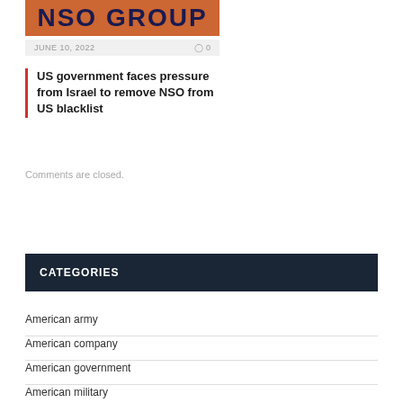[Figure (photo): Orange background with dark blue logo text partially visible, resembling a company logo]
JUNE 10, 2022   0
US government faces pressure from Israel to remove NSO from US blacklist
Comments are closed.
CATEGORIES
American army
American company
American government
American military